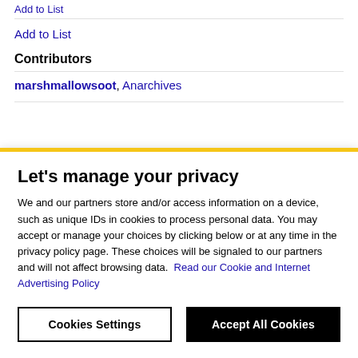Add to List
Add to List
Contributors
marshmallowsoot, Anarchives
Let's manage your privacy
We and our partners store and/or access information on a device, such as unique IDs in cookies to process personal data. You may accept or manage your choices by clicking below or at any time in the privacy policy page. These choices will be signaled to our partners and will not affect browsing data. Read our Cookie and Internet Advertising Policy
Cookies Settings
Accept All Cookies